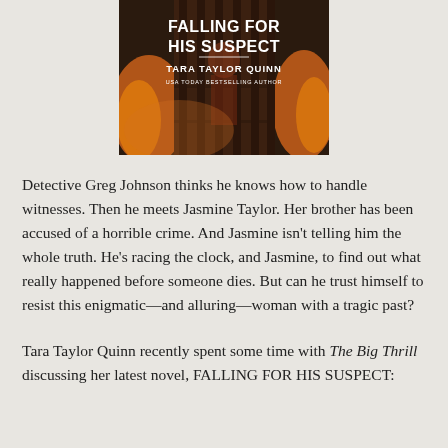[Figure (illustration): Book cover of 'Falling For His Suspect' by Tara Taylor Quinn, USA Today Bestselling Author. Dark dramatic cover with fire imagery.]
Detective Greg Johnson thinks he knows how to handle witnesses. Then he meets Jasmine Taylor. Her brother has been accused of a horrible crime. And Jasmine isn't telling him the whole truth. He's racing the clock, and Jasmine, to find out what really happened before someone dies. But can he trust himself to resist this enigmatic—and alluring—woman with a tragic past?
Tara Taylor Quinn recently spent some time with The Big Thrill discussing her latest novel, FALLING FOR HIS SUSPECT: